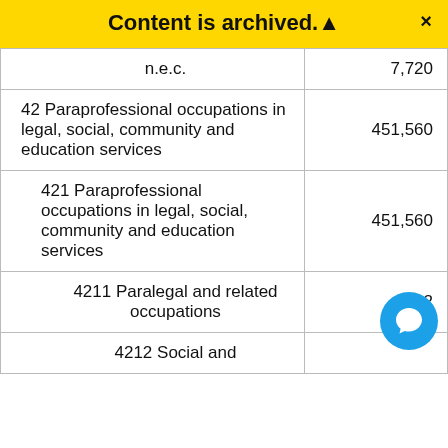Content is archived. ×
| Occupation | Value |
| --- | --- |
| n.e.c. | 7,720 |
| 42 Paraprofessional occupations in legal, social, community and education services | 451,560 |
| 421 Paraprofessional occupations in legal, social, community and education services | 451,560 |
| 4211 Paralegal and related occupations | 2… |
| 4212 Social and |  |